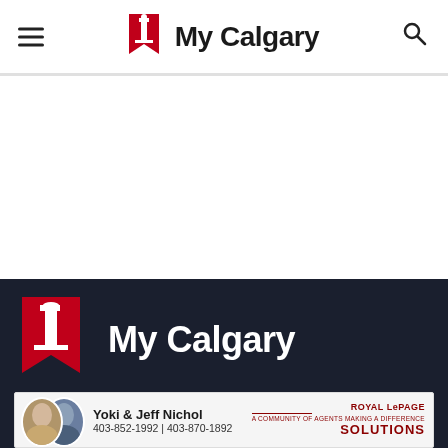My Calgary
[Figure (logo): My Calgary logo with Calgary Tower icon in footer dark section]
MyCalgary.com is a community news website dedicated to profiling local events
[Figure (other): Advertisement banner: Yoki & Jeff Nichol, Royal LePage Solutions, 403-852-1992 | 403-870-1892]